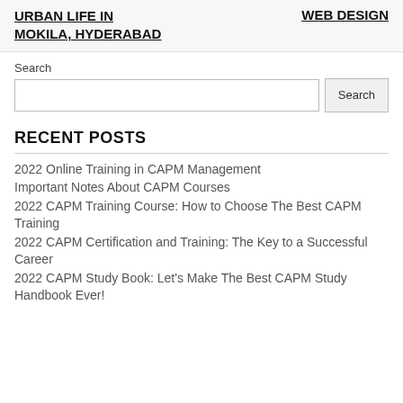URBAN LIFE IN MOKILA, HYDERABAD | WEB DESIGN
Search
RECENT POSTS
2022 Online Training in CAPM Management
Important Notes About CAPM Courses
2022 CAPM Training Course: How to Choose The Best CAPM Training
2022 CAPM Certification and Training: The Key to a Successful Career
2022 CAPM Study Book: Let's Make The Best CAPM Study Handbook Ever!